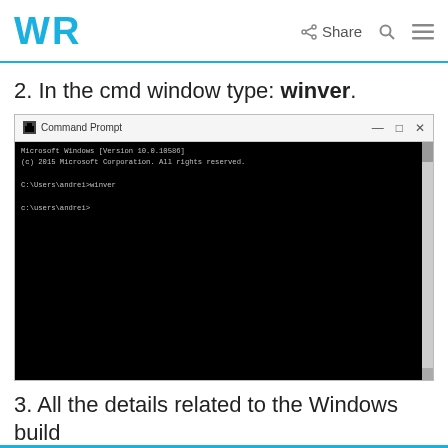WR | Share
2. In the cmd window type: winver.
[Figure (screenshot): Command Prompt window showing: Microsoft Windows [Version 10.0.10586] (c) 2015 Microsoft Corporation. All rights reserved. C:\Users\andrei>winver c:\Users\andrei>]
3. All the details related to the Windows build number should be now listed.